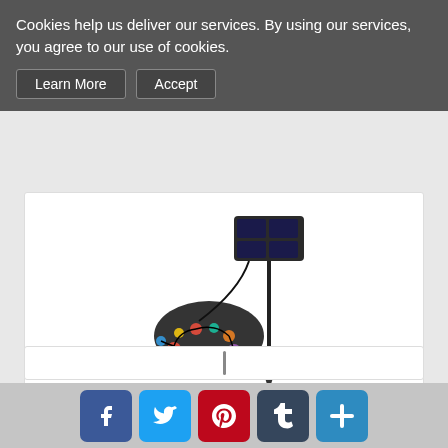Cookies help us deliver our services. By using our services, you agree to our use of cookies.
Learn More  Accept
[Figure (photo): Solar string lights product image showing colorful LED lights on a black wire with a solar panel at the top]
Patio Solar String Lights - 32ft-100LEDs...
$17.99
View
Buy Now
[Figure (screenshot): Social sharing buttons: Facebook, Twitter, Pinterest, Tumblr, and a share/plus button]